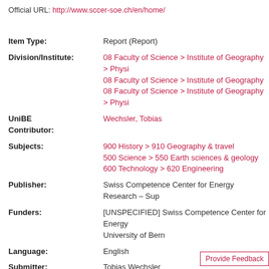Official URL: http://www.sccer-soe.ch/en/home/
| Item Type: | Report (Report) |
| Division/Institute: | 08 Faculty of Science > Institute of Geography > Physi
08 Faculty of Science > Institute of Geography
08 Faculty of Science > Institute of Geography > Physi |
| UniBE Contributor: | Wechsler, Tobias |
| Subjects: | 900 History > 910 Geography & travel
500 Science > 550 Earth sciences & geology
600 Technology > 620 Engineering |
| Publisher: | Swiss Competence Center for Energy Research – Sup |
| Funders: | [UNSPECIFIED] Swiss Competence Center for Energy
University of Bern |
| Language: | English |
| Submitter: | Tobias Wechsler |
| Date Deposited: | 17 Feb 2020 13:13 |
| Last Modified: | 24 Mar 2020 12:33 |
| BORIS DOI: | 10.7892/boris.139878 |
| URI: | https://boris.unibe.ch/id/eprint/139878 |